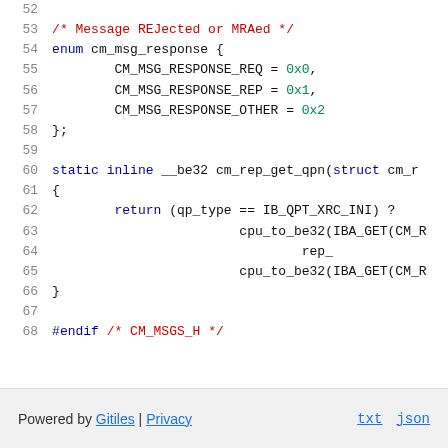Source code listing lines 52-68: C enum cm_msg_response and static inline function cm_rep_get_qpn, followed by #endif directive
Powered by Gitiles | Privacy   txt  json